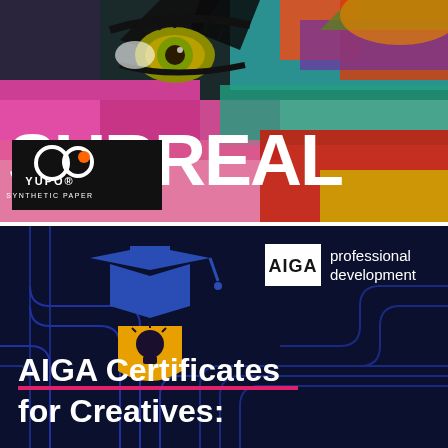[Figure (illustration): Colorful surrealist illustration of a face with vibrant brushstroke colors (pink, teal, orange, yellow, red, purple). Large bold white text reads SURREAL overlaid on the bottom portion. A black box in the lower-left contains the YUPO Synthetic Paper logo (two circles, one with orange dot, one outlined) and the text YUPO SYNTHETIC PAPER.]
[Figure (infographic): Dark navy/black background with blue circuit-board line patterns. Top-left shows a graduation cap icon in blue with a yellow lightbulb/shield icon below it. Top-right shows a white AIGA logo box and text 'professional development'. Large white bold text reads 'AIGA Certificates for Creatives:' with a pink/magenta underline beneath 'AIGA Certificates'.]